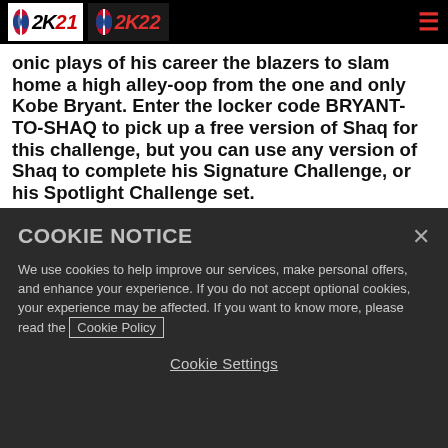NBA 2K21 / NBA 2K22 navigation bar with logos and hamburger menu
onic plays of his career the blazers to slam home a high alley-oop from the one and only Kobe Bryant. Enter the locker code BRYANT-TO-SHAQ to pick up a free version of Shaq for this challenge, but you can use any version of Shaq to complete his Signature Challenge, or his Spotlight Challenge set.

Yes, Spotlight Challenges based around a player are BACK! Take on Triple Threat and 5v5 challenges based around 5 different NBA Superstars' careers. Each will
COOKIE NOTICE
We use cookies to help improve our services, make personal offers, and enhance your experience. If you do not accept optional cookies, your experience may be affected. If you want to know more, please read the Cookie Policy
Cookie Settings